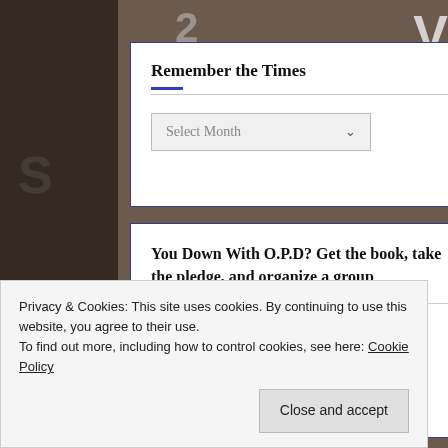[Figure (screenshot): Background photo of people with text/signs visible, partially obscured by white UI cards]
Remember the Times
Select Month (dropdown)
You Down With O.P.D? Get the book, take the pledge, and organize a group
Privacy & Cookies: This site uses cookies. By continuing to use this website, you agree to their use.
To find out more, including how to control cookies, see here: Cookie Policy
Close and accept